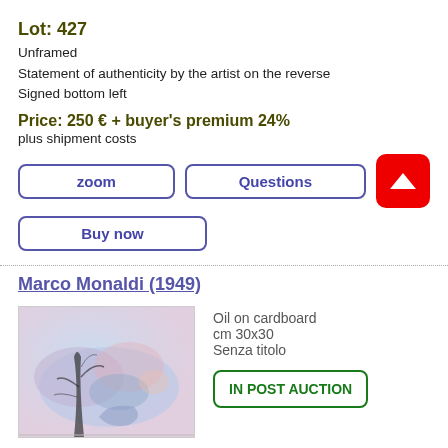Lot: 427
Unframed
Statement of authenticity by the artist on the reverse
Signed bottom left
Price: 250 €  + buyer's premium  24%
plus shipment costs
zoom
Questions
Buy now
Marco Monaldi (1949)
Oil on cardboard
cm 30x30
Senza titolo
IN POST AUCTION
[Figure (photo): Painting by Marco Monaldi — abstract watercolor-style artwork with blues, pinks and dark tree-like forms on cardboard]